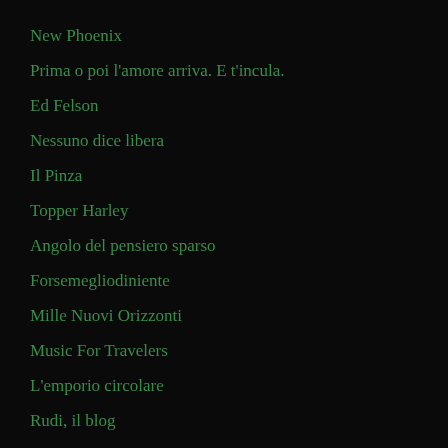New Phoenix
Prima o poi l'amore arriva. E t'incula.
Ed Felson
Nessuno dice libera
Il Pinza
Topper Harley
Angolo del pensiero sparso
Forsemegliodiniente
Mille Nuovi Orizzonti
Music For Travelers
L'emporio circolare
Rudi, il blog
Viaggi ermeneutici
Dimaco – Non cerco scuse. Non devo spiegazioni
Ciò che ti deve ancora succedere
La parte più difficile è il titolo
Colpo di Tacco
Intorno